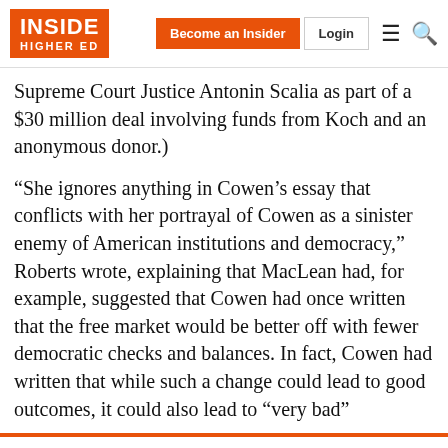INSIDE HIGHER ED | Become an Insider | Login
Supreme Court Justice Antonin Scalia as part of a $30 million deal involving funds from Koch and an anonymous donor.)
“She ignores anything in Cowen’s essay that conflicts with her portrayal of Cowen as a sinister enemy of American institutions and democracy,” Roberts wrote, explaining that MacLean had, for example, suggested that Cowen had once written that the free market would be better off with fewer democratic checks and balances. In fact, Cowen had written that while such a change could lead to good outcomes, it could also lead to “very bad”
4 of 5 articles left this month. Sign up for a free account or Log in.